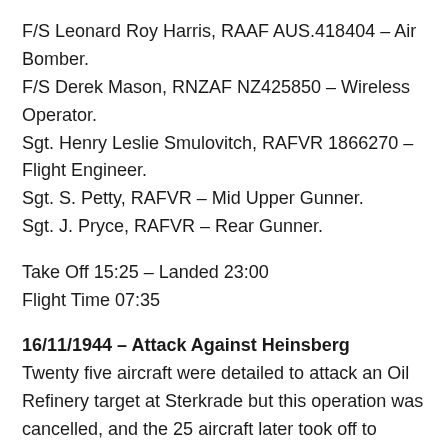F/S Leonard Roy Harris, RAAF AUS.418404 – Air Bomber.
F/S Derek Mason, RNZAF NZ425850 – Wireless Operator.
Sgt. Henry Leslie Smulovitch, RAFVR 1866270 – Flight Engineer.
Sgt. S. Petty, RAFVR – Mid Upper Gunner.
Sgt. J. Pryce, RAFVR – Rear Gunner.
Take Off 15:25 – Landed 23:00
Flight Time 07:35
16/11/1944 – Attack Against Heinsberg
Twenty five aircraft were detailed to attack an Oil Refinery target at Sterkrade but this operation was cancelled, and the 25 aircraft later took off to attack Heinsberg in support of the advancing American Army, carrying 8,000 lb, 4,000 lb, 1,000 lb and 500 lb bombs. All crews were successful